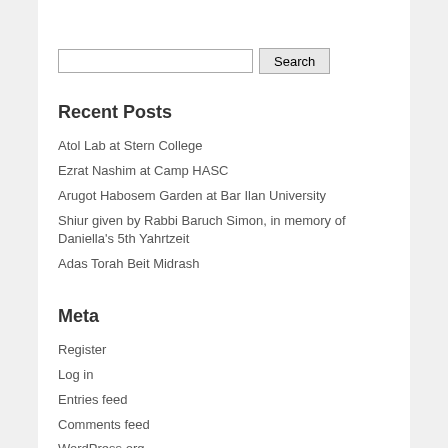Search
Recent Posts
Atol Lab at Stern College
Ezrat Nashim at Camp HASC
Arugot Habosem Garden at Bar Ilan University
Shiur given by Rabbi Baruch Simon, in memory of Daniella's 5th Yahrtzeit
Adas Torah Beit Midrash
Meta
Register
Log in
Entries feed
Comments feed
WordPress.org